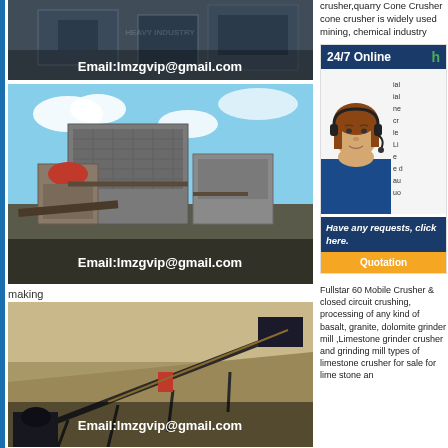[Figure (photo): Crushing machinery equipment in warehouse with email overlay: Email:lmzgvip@gmail.com]
[Figure (photo): Large industrial crusher/cone crusher machine outdoors against sky background with email overlay: Email:lmzgvip@gmail.com]
making
[Figure (photo): Mining conveyor belt system in open pit quarry with email overlay: Email:lmzgvip@gmail.com]
crusher,quarry Cone Crusher cone crusher is widely used mining, chemical industry
[Figure (infographic): 24/7 Online customer service widget with woman wearing headset, 'Have any requests, click here.' button and Quotation button]
Fullstar 60 Mobile Crusher & closed circuit crushing, processing of any kind of basalt, granite, dolomite grinder mill ,Limestone grinder crusher and grinding mill types of limestone crusher for sale for lime stone an